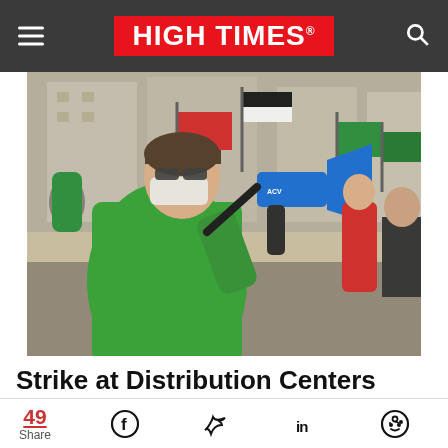HIGH TIMES
[Figure (photo): A protest scene showing a man in a green jacket and face mask holding a blue megaphone, with protesters carrying red and green flags in the background at an outdoor public location]
Strike at Distribution Centers Could
49 Share (with Facebook, Twitter, LinkedIn, Reddit social share icons)